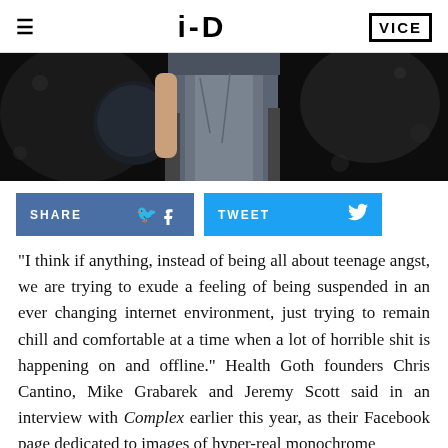i-D | VICE
[Figure (photo): Close-up fashion photo of a person wearing denim shorts/skirt and holding a dark bag, dark background with bokeh]
SHARE | TWEET (social sharing buttons)
"I think if anything, instead of being all about teenage angst, we are trying to exude a feeling of being suspended in an ever changing internet environment, just trying to remain chill and comfortable at a time when a lot of horrible shit is happening on and offline." Health Goth founders Chris Cantino, Mike Grabarek and Jeremy Scott said in an interview with Complex earlier this year, as their Facebook page dedicated to images of hyper-real monochrome